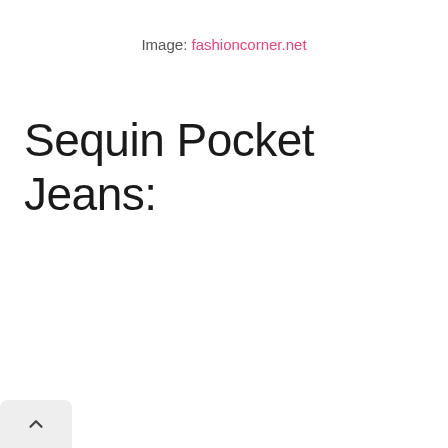Image: fashioncorner.net
Sequin Pocket Jeans: